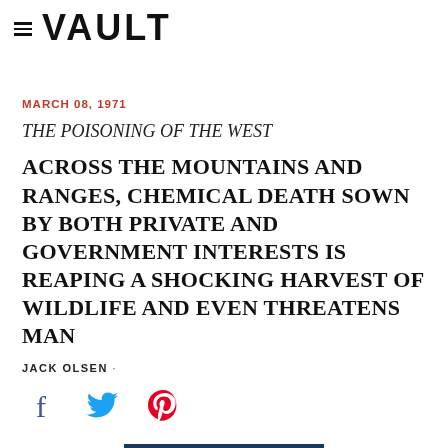VAULT
MARCH 08, 1971
THE POISONING OF THE WEST
ACROSS THE MOUNTAINS AND RANGES, CHEMICAL DEATH SOWN BY BOTH PRIVATE AND GOVERNMENT INTERESTS IS REAPING A SHOCKING HARVEST OF WILDLIFE AND EVEN THREATENS MAN
JACK OLSEN ·
[Figure (other): Social share icons: Facebook, Twitter, Pinterest]